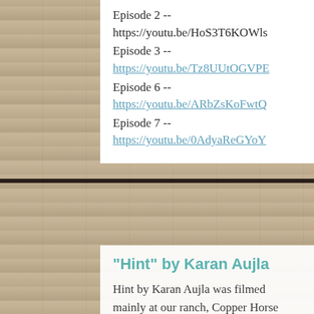Episode 2 -- https://youtu.be/HoS3T6KOWls
Episode 3 -- https://youtu.be/Tz8UUtOGVPE
Episode 6 -- https://youtu.be/ARbZsKoFwtQ
Episode 7 -- https://youtu.be/0AdyaReGYoY
[Figure (photo): Blurred background photo of stone or brick wall texture in beige/tan tones with a horizontal dark rail or bar running across the middle of the image.]
"Hint" by Karan Aujla
Hint by Karan Aujla was filmed mainly at our ranch, Copper Horse Ranch. Our intimate, ...